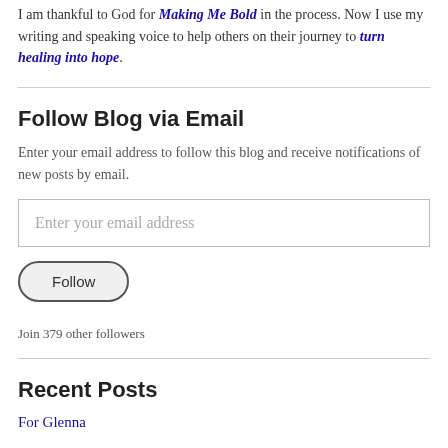I am thankful to God for Making Me Bold in the process. Now I use my writing and speaking voice to help others on their journey to turn healing into hope.
Follow Blog via Email
Enter your email address to follow this blog and receive notifications of new posts by email.
Enter your email address
Follow
Join 379 other followers
Recent Posts
For Glenna